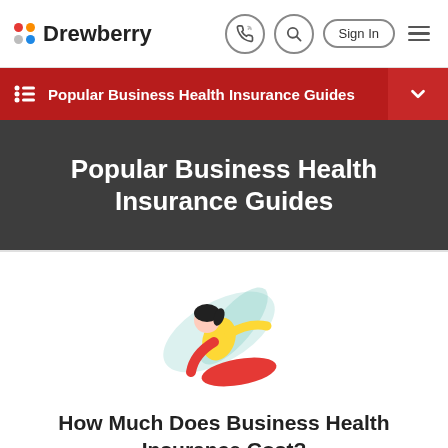Drewberry
Popular Business Health Insurance Guides
Popular Business Health Insurance Guides
[Figure (illustration): Illustration of a person doing a yoga or stretching pose with light blue swoosh shapes in the background]
How Much Does Business Health Insurance Cost?